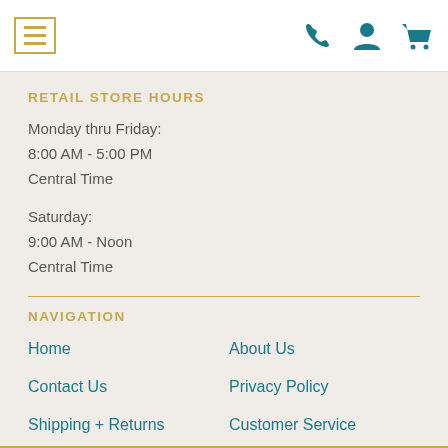Navigation bar with menu icon, phone icon, user icon, cart icon
RETAIL STORE HOURS
Monday thru Friday:
8:00 AM - 5:00 PM
Central Time
Saturday:
9:00 AM - Noon
Central Time
NAVIGATION
Home
About Us
Contact Us
Privacy Policy
Shipping + Returns
Customer Service
Site Map